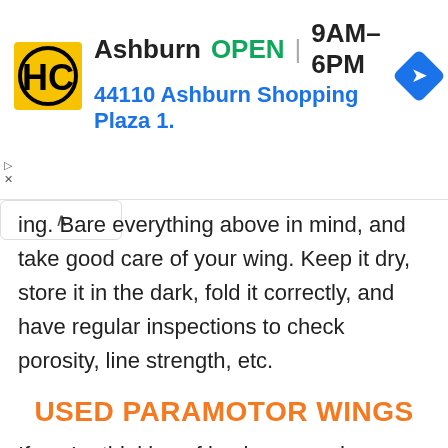[Figure (other): Advertisement banner for Hairclub (HC) Ashburn location showing logo, OPEN status, hours 9AM-6PM, address 44110 Ashburn Shopping Plaza 1., and a navigation arrow icon]
ing. Bare everything above in mind, and take good care of your wing. Keep it dry, store it in the dark, fold it correctly, and have regular inspections to check porosity, line strength, etc.
USED PARAMOTOR WINGS
If you're thinking of buying a used paramotor wing, you should consider everything in the previous section of this wing guide. Find out